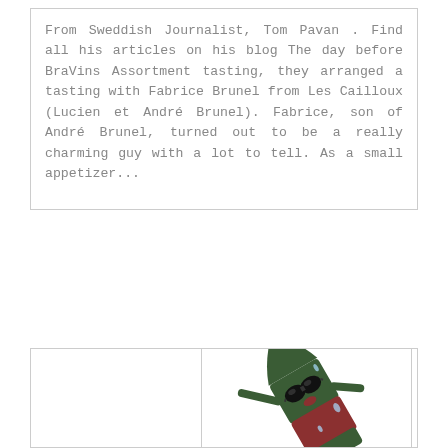From Sweddish Journalist, Tom Pavan . Find all his articles on his blog The day before BraVins Assortment tasting, they arranged a tasting with Fabrice Brunel from Les Cailloux (Lucien et André Brunel). Fabrice, son of André Brunel, turned out to be a really charming guy with a lot to tell. As a small appetizer...
[Figure (illustration): Cartoon illustration of an anthropomorphic wine bottle character wearing sunglasses, tilted at an angle as if striking a cool pose. The bottle has dark green body with a red/burgundy label and cap, thin stick-like arms and legs. The character appears to be sweating with small droplet marks on it.]